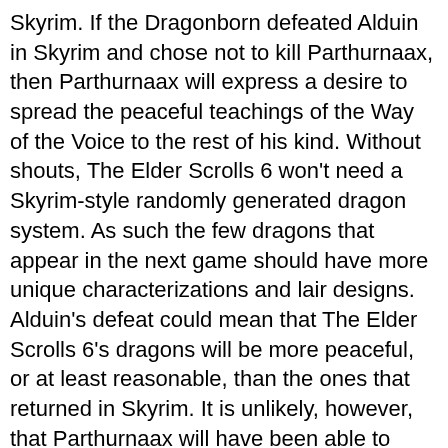Skyrim. If the Dragonborn defeated Alduin in Skyrim and chose not to kill Parthurnaax, then Parthurnaax will express a desire to spread the peaceful teachings of the Way of the Voice to the rest of his kind. Without shouts, The Elder Scrolls 6 won't need a Skyrim-style randomly generated dragon system. As such the few dragons that appear in the next game should have more unique characterizations and lair designs. Alduin's defeat could mean that The Elder Scrolls 6's dragons will be more peaceful, or at least reasonable, than the ones that returned in Skyrim. It is unlikely, however, that Parthurnaax will have been able to overcome every dragon's innate draw towards domination before the events of the next game.
https://sites.google.com/view/googlplaygiftcardgiveaw...
https://sites.google.com/view/googlplayfreerewardsto...
https://sites.google.com/view/googlplayfree25giftcard...
https://sites.google.com/view/googlplayfreegiftcard...